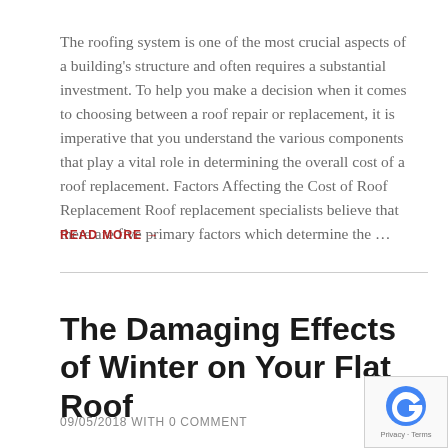The roofing system is one of the most crucial aspects of a building's structure and often requires a substantial investment. To help you make a decision when it comes to choosing between a roof repair or replacement, it is imperative that you understand the various components that play a vital role in determining the overall cost of a roof replacement. Factors Affecting the Cost of Roof Replacement Roof replacement specialists believe that there are five primary factors which determine the …
READ MORE →
The Damaging Effects of Winter on Your Flat Roof
09/05/2018 WITH 0 COMMENT